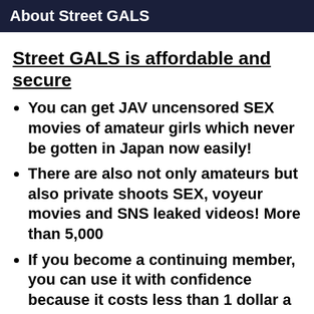About Street GALS
Street GALS is affordable and secure
You can get JAV uncensored SEX movies of amateur girls which never be gotten in Japan now easily!
There are also not only amateurs but also private shoots SEX, voyeur movies and SNS leaked videos! More than 5,000
If you become a continuing member, you can use it with confidence because it costs less than 1 dollar a